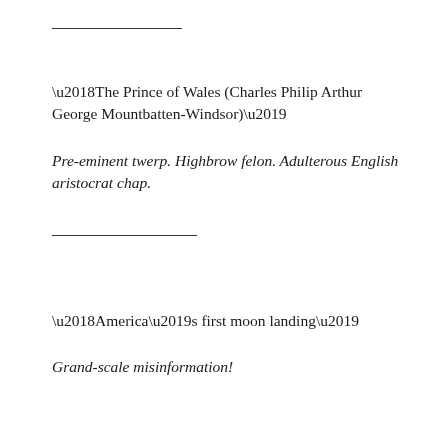——————
‘The Prince of Wales (Charles Philip Arthur George Mountbatten-Windsor)’
Pre-eminent twerp. Highbrow felon. Adulterous English aristocrat chap.
——————-
‘America’s first moon landing’
Grand-scale misinformation!